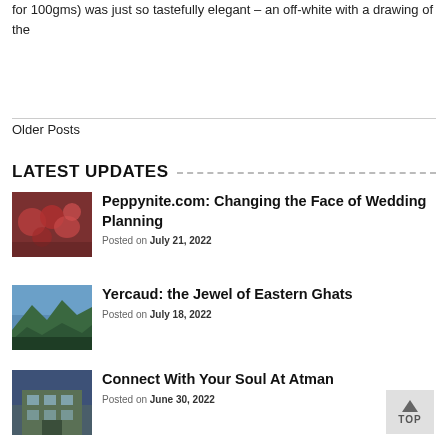for 100gms) was just so tastefully elegant – an off-white with a drawing of the
Older Posts
LATEST UPDATES
Peppynite.com: Changing the Face of Wedding Planning
Posted on July 21, 2022
Yercaud: the Jewel of Eastern Ghats
Posted on July 18, 2022
Connect With Your Soul At Atman
Posted on June 30, 2022